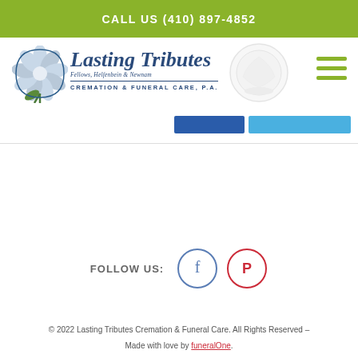CALL US (410) 897-4852
[Figure (logo): Lasting Tributes Fellows, Helfenbein & Newnam Cremation & Funeral Care, P.A. logo with flower icon and decorative seal]
FOLLOW US:
[Figure (illustration): Facebook and Pinterest social media icon circles]
© 2022 Lasting Tributes Cremation & Funeral Care. All Rights Reserved – Made with love by funeralOne.